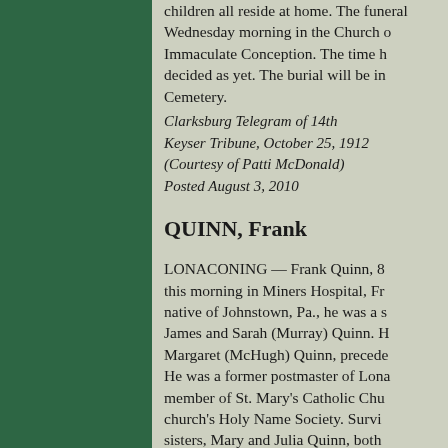children all reside at home. The funeral Wednesday morning in the Church of the Immaculate Conception. The time has not been decided as yet. The burial will be in St. Patrick's Cemetery.
Clarksburg Telegram of 14th
Keyser Tribune, October 25, 1912
(Courtesy of Patti McDonald)
Posted August 3, 2010
QUINN, Frank
LONACONING — Frank Quinn, 80, died this morning in Miners Hospital, Frostburg. A native of Johnstown, Pa., he was a son of James and Sarah (Murray) Quinn. His wife, Margaret (McHugh) Quinn, preceded him in death. He was a former postmaster of Lonaconing, a member of St. Mary's Catholic Church and the church's Holy Name Society. Surviving are two sisters, Mary and Julia Quinn, both of Lonaconing. The body is at the Eichhorn Funeral Home, where the family will receive friends from 2 to...